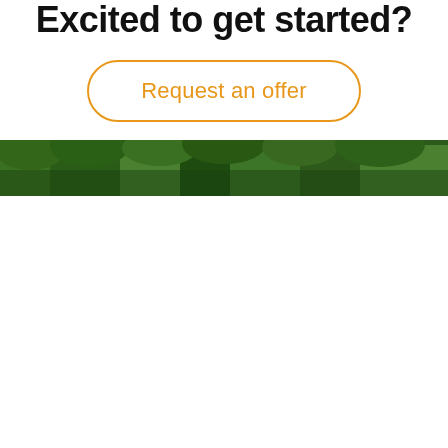Excited to get started?
Request an offer
[Figure (photo): Aerial view of dense green forest treetops]
By clicking "Accept All Cookies", you agree to the storing of cookies on your device to enhance site navigation, analyze site usage, and assist in our marketing efforts.
Cookies Settings
Reject All
Accept All Cookies